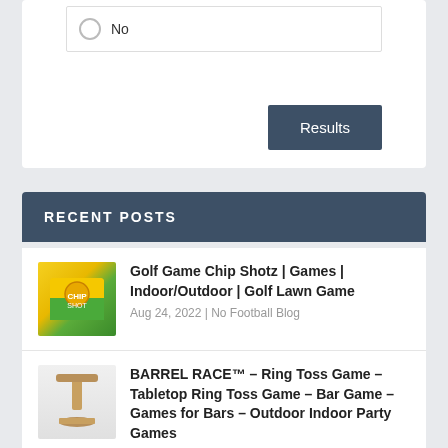No
Results
RECENT POSTS
Golf Game Chip Shotz | Games | Indoor/Outdoor | Golf Lawn Game
Aug 24, 2022 | No Football Blog
BARREL RACE™ – Ring Toss Game – Tabletop Ring Toss Game – Bar Game – Games for Bars – Outdoor Indoor Party Games